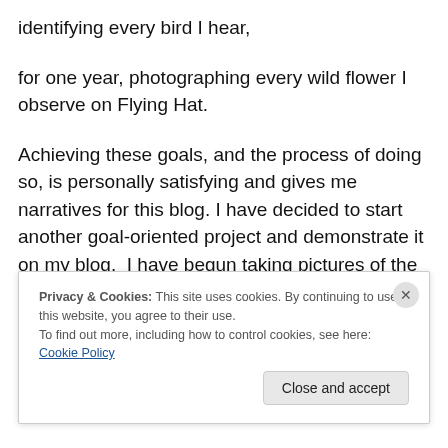identifying every bird I hear,
for one year, photographing every wild flower I observe on Flying Hat.
Achieving these goals, and the process of doing so, is personally satisfying and gives me narratives for this blog. I have decided to start another goal-oriented project and demonstrate it on my blog. I have begun taking pictures of the wild flowers on Flying Hat and my goal is to continue photographing and identifying flowers (all colorful blossoms) through a turn of seasons for one year. March
Privacy & Cookies: This site uses cookies. By continuing to use this website, you agree to their use.
To find out more, including how to control cookies, see here: Cookie Policy
Close and accept